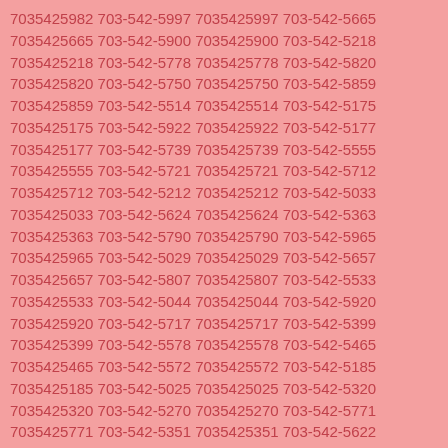7035425982 703-542-5997 7035425997 703-542-5665 7035425665 703-542-5900 7035425900 703-542-5218 7035425218 703-542-5778 7035425778 703-542-5820 7035425820 703-542-5750 7035425750 703-542-5859 7035425859 703-542-5514 7035425514 703-542-5175 7035425175 703-542-5922 7035425922 703-542-5177 7035425177 703-542-5739 7035425739 703-542-5555 7035425555 703-542-5721 7035425721 703-542-5712 7035425712 703-542-5212 7035425212 703-542-5033 7035425033 703-542-5624 7035425624 703-542-5363 7035425363 703-542-5790 7035425790 703-542-5965 7035425965 703-542-5029 7035425029 703-542-5657 7035425657 703-542-5807 7035425807 703-542-5533 7035425533 703-542-5044 7035425044 703-542-5920 7035425920 703-542-5717 7035425717 703-542-5399 7035425399 703-542-5578 7035425578 703-542-5465 7035425465 703-542-5572 7035425572 703-542-5185 7035425185 703-542-5025 7035425025 703-542-5320 7035425320 703-542-5270 7035425270 703-542-5771 7035425771 703-542-5351 7035425351 703-542-5622 7035425622 703-542-5411 7035425411 703-542-5408 7035425408 703-542-5072 7035425072 703-542-5563 7035425563 703-542-5355 7035425355 703-542-5746 7035425746 703-542-5339 7035425339 703-542-5648 7035425648 703-542-5315 7035425315 703-542-5673 7035425673 703-542-5939 7035425939 703-542-5507 7035425507 703-542-5661 7035425661 703-542-5799 7035425799 703-542-5573 7035425573 703-542-5333 7035425333 703-542-5937 7035425937 703-542-5229 7035425229 703-542-5776 7035425776 703-542-5552 7035425552 703-542-